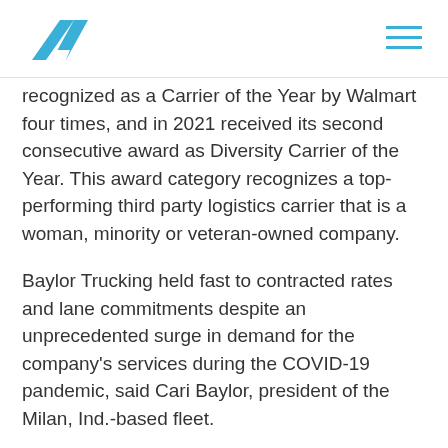Averitt Express logo and navigation menu
recognized as a Carrier of the Year by Walmart four times, and in 2021 received its second consecutive award as Diversity Carrier of the Year. This award category recognizes a top-performing third party logistics carrier that is a woman, minority or veteran-owned company.
Baylor Trucking held fast to contracted rates and lane commitments despite an unprecedented surge in demand for the company's services during the COVID-19 pandemic, said Cari Baylor, president of the Milan, Ind.-based fleet.
“We were able to grow our relationship with